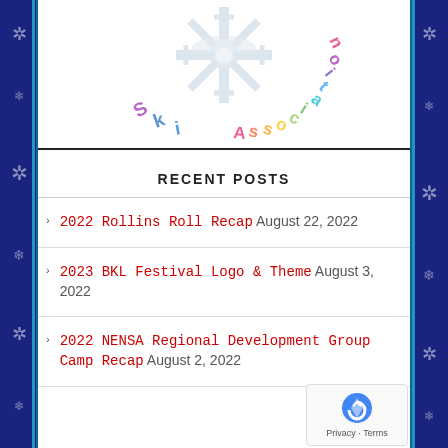[Figure (logo): Partial ski association logo with snowflake emblem and rainbow-colored 'Ski Association' text arranged in an arc]
RECENT POSTS
2022 Rollins Roll Recap August 22, 2022
2023 BKL Festival Logo & Theme August 3, 2022
2022 NENSA Regional Development Group Camp Recap August 2, 2022